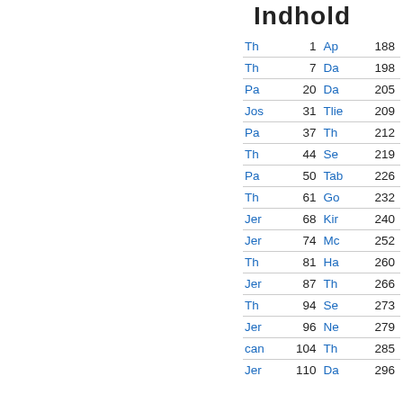Indhold
| Th | 1 | Ap | 188 |
| Th | 7 | Da | 198 |
| Pa | 20 | Da | 205 |
| Jos | 31 | Tlie | 209 |
| Pa | 37 | Th | 212 |
| Th | 44 | Se | 219 |
| Pa | 50 | Tab | 226 |
| Th | 61 | Go | 232 |
| Jer | 68 | Kir | 240 |
| Jer | 74 | Mc | 252 |
| Th | 81 | Ha | 260 |
| Jer | 87 | Th | 266 |
| Th | 94 | Se | 273 |
| Jer | 96 | Ne | 279 |
| can | 104 | Th | 285 |
| Jer | 110 | Da | 296 |